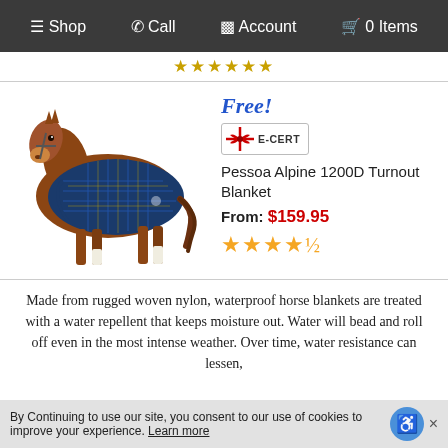≡ Shop  ☎ Call  👤 Account  🛒 0 Items
★★★★★★
[Figure (photo): A chestnut horse wearing a blue plaid Pessoa Alpine 1200D Turnout Blanket, standing facing left on white background.]
Free!
[Figure (illustration): E-CERT gift card badge with red ribbon bow]
Pessoa Alpine 1200D Turnout Blanket
From: $159.95
★★★★½
Made from rugged woven nylon, waterproof horse blankets are treated with a water repellent that keeps moisture out. Water will bead and roll off even in the most intense weather. Over time, water resistance can lessen,
By Continuing to use our site, you consent to our use of cookies to improve your experience. Learn more